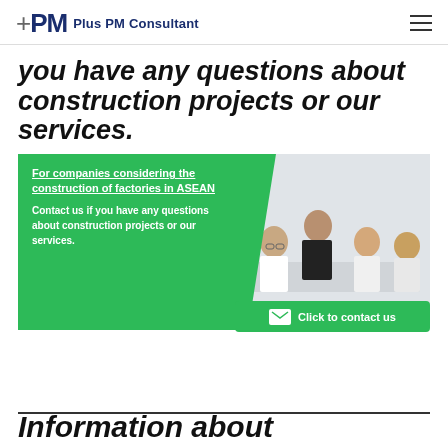+PM Plus PM Consultant
you have any questions about construction projects or our services.
[Figure (photo): Green card overlay with text about factory construction in ASEAN and a photo of business people in a meeting room, with a 'Click to contact us' green button]
For companies considering the construction of factories in ASEAN
Contact us if you have any questions about construction projects or our services.
Click to contact us
Information about